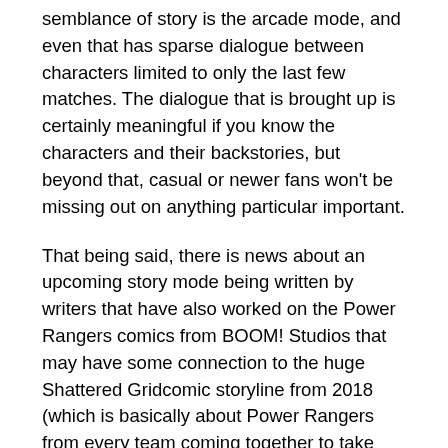semblance of story is the arcade mode, and even that has sparse dialogue between characters limited to only the last few matches. The dialogue that is brought up is certainly meaningful if you know the characters and their backstories, but beyond that, casual or newer fans won't be missing out on anything particular important.
That being said, there is news about an upcoming story mode being written by writers that have also worked on the Power Rangers comics from BOOM! Studios that may have some connection to the huge Shattered Gridcomic storyline from 2018 (which is basically about Power Rangers from every team coming together to take down Lord Drakkon, an evil Tommy Oliver from a parallel dimension). This is supposed to be an original story written for the game, so hopefully it will be handled with the same care that the comic book storylines have been.